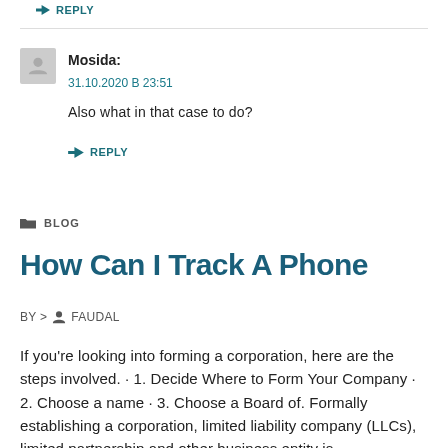REPLY
Mosida:
31.10.2020 В 23:51
Also what in that case to do?
REPLY
BLOG
How Can I Track A Phone
BY > FAUDAL
If you're looking into forming a corporation, here are the steps involved. · 1. Decide Where to Form Your Company · 2. Choose a name · 3. Choose a Board of. Formally establishing a corporation, limited liability company (LLCs), limited partnership and other business entity is